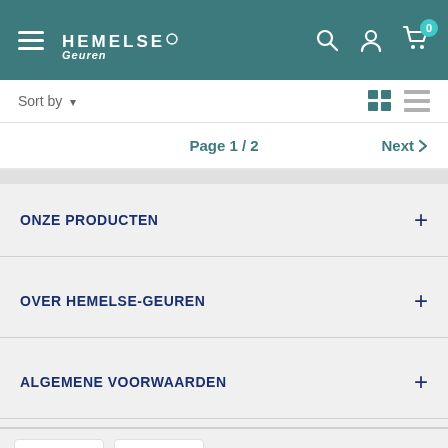[Figure (screenshot): E-commerce website header with teal background, hamburger menu, Hemelse Geuren logo, search icon, user icon, and cart icon with badge showing 0]
Sort by ▾
Page 1 / 2
Next ›
ONZE PRODUCTEN
OVER HEMELSE-GEUREN
ALGEMENE VOORWAARDEN